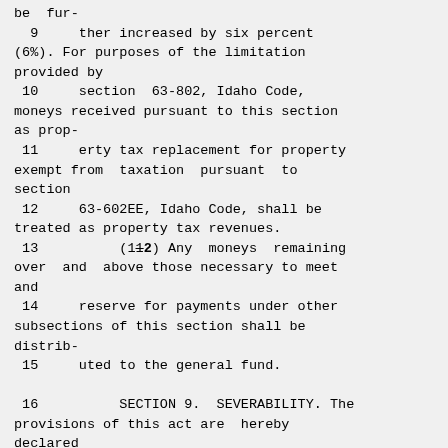be  fur-
  9     ther increased by six percent (6%). For purposes of the limitation provided by
 10     section  63-802, Idaho Code, moneys received pursuant to this section as prop-
 11     erty tax replacement for property exempt from  taxation  pursuant  to section
 12     63-602EE, Idaho Code, shall be treated as property tax revenues.
 13          (1±2) Any  moneys  remaining over  and  above those necessary to meet and
 14     reserve for payments under other subsections of this section shall be distrib-
 15     uted to the general fund.

 16          SECTION 9.  SEVERABILITY. The provisions of this act are  hereby declared
 17     to  be  severable  and if any